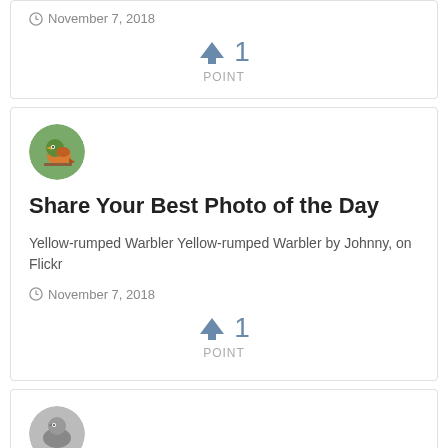November 7, 2018
↑ 1
POINT
[Figure (photo): Circular avatar photo of a kingfisher bird on a branch]
Share Your Best Photo of the Day
Yellow-rumped Warbler Yellow-rumped Warbler by Johnny, on Flickr
November 7, 2018
↑ 1
POINT
[Figure (photo): Circular avatar photo, partially visible at bottom of page]